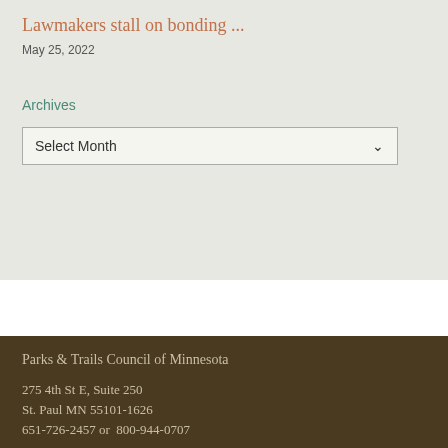Lawmakers stall on bonding ...
May 25, 2022
Archives
Select Month
Parks & Trails Council of Minnesota
275 4th St E, Suite 250
St. Paul MN 55101-1626
651-726-2457 or  800-944-0707